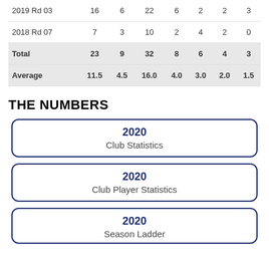|  |  |  |  |  |  |  |  |
| --- | --- | --- | --- | --- | --- | --- | --- |
| 2019 Rd 03 | 16 | 6 | 22 | 6 | 2 | 2 | 3 |
| 2018 Rd 07 | 7 | 3 | 10 | 2 | 4 | 2 | 0 |
| Total | 23 | 9 | 32 | 8 | 6 | 4 | 3 |
| Average | 11.5 | 4.5 | 16.0 | 4.0 | 3.0 | 2.0 | 1.5 |
THE NUMBERS
2020
Club Statistics
2020
Club Player Statistics
2020
Season Ladder